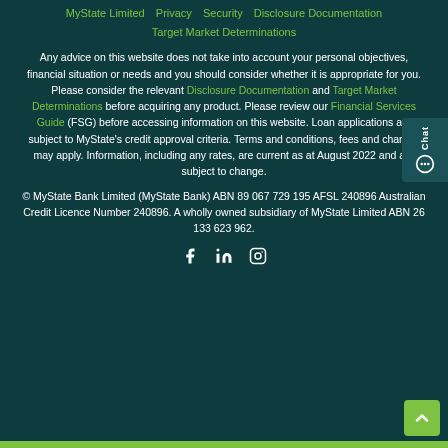MyState Limited | Privacy | Security | Disclosure Documentation | Target Market Determinations
Any advice on this website does not take into account your personal objectives, financial situation or needs and you should consider whether it is appropriate for you. Please consider the relevant Disclosure Documentation and Target Market Determinations before acquiring any product. Please review our Financial Services Guide (FSG) before accessing information on this website. Loan applications are subject to MyState's credit approval criteria. Terms and conditions, fees and charges may apply. Information, including any rates, are current as at August 2022 and are subject to change.
© MyState Bank Limited (MyState Bank) ABN 89 067 729 195 AFSL 240896 Australian Credit Licence Number 240896. A wholly owned subsidiary of MyState Limited ABN 26 133 623 962.
[Figure (other): Social media icons: Facebook, LinkedIn, Instagram]